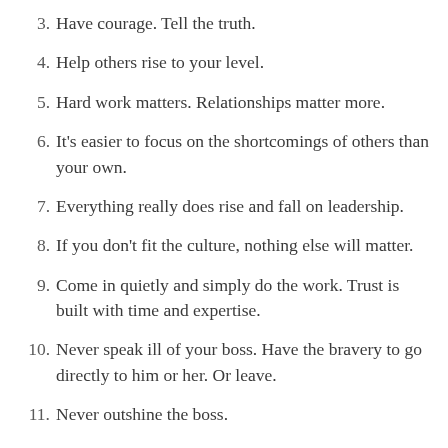3. Have courage. Tell the truth.
4. Help others rise to your level.
5. Hard work matters. Relationships matter more.
6. It's easier to focus on the shortcomings of others than your own.
7. Everything really does rise and fall on leadership.
8. If you don't fit the culture, nothing else will matter.
9. Come in quietly and simply do the work. Trust is built with time and expertise.
10. Never speak ill of your boss. Have the bravery to go directly to him or her. Or leave.
11. Never outshine the boss.